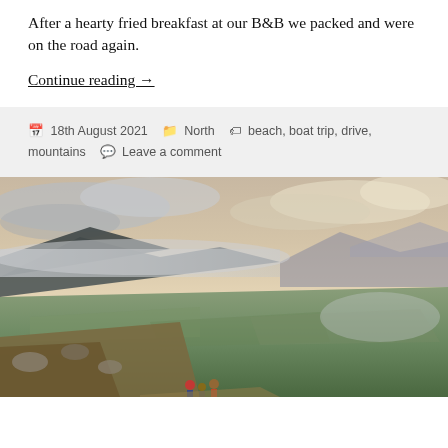After a hearty fried breakfast at our B&B we packed and were on the road again.
Continue reading →
18th August 2021   North   beach, boat trip, drive, mountains   Leave a comment
[Figure (photo): Hikers walking along a mountain ridge with a sweeping valley view below, misty mountains in the background, dramatic cloudy sky with warm sunset tones]